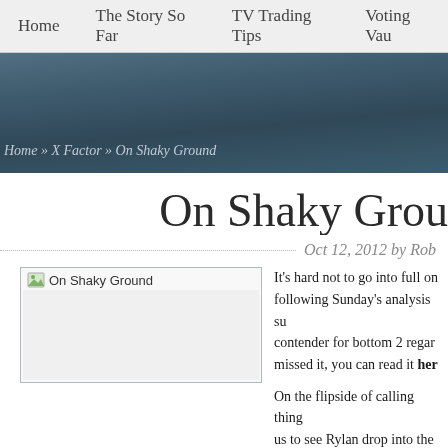Home   The Story So Far   TV Trading Tips   Voting Vau...
Home » X Factor » On Shaky Ground
On Shaky Ground
Oct 12, 2012 by Rob
[Figure (photo): On Shaky Ground image placeholder]
It's hard not to go into full on... following Sunday's analysis su... contender for bottom 2 regar... missed it, you can read it here

On the flipside of calling thing... us to see Rylan drop into the... that came to pass is that prev...